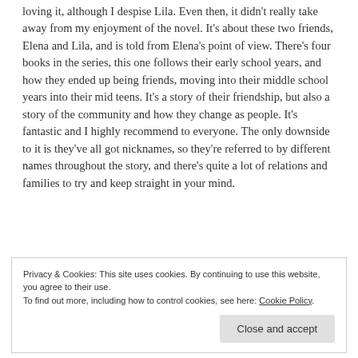loving it, although I despise Lila. Even then, it didn't really take away from my enjoyment of the novel. It's about these two friends, Elena and Lila, and is told from Elena's point of view. There's four books in the series, this one follows their early school years, and how they ended up being friends, moving into their middle school years into their mid teens. It's a story of their friendship, but also a story of the community and how they change as people. It's fantastic and I highly recommend to everyone. The only downside to it is they've all got nicknames, so they're referred to by different names throughout the story, and there's quite a lot of relations and families to try and keep straight in your mind.
Privacy & Cookies: This site uses cookies. By continuing to use this website, you agree to their use. To find out more, including how to control cookies, see here: Cookie Policy